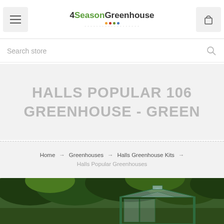4SeasonGreenhouse - navigation header with hamburger menu and cart icon
Search store
HALLS POPULAR 106 GREENHOUSE - GREEN
Home → Greenhouses → Halls Greenhouse Kits → Halls Popular Greenhouses
[Figure (photo): Photo of a green greenhouse structure with glass roof panels and green metal frame, surrounded by trees with green foliage]